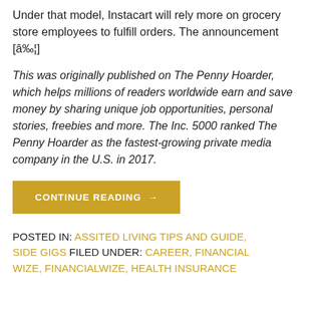Under that model, Instacart will rely more on grocery store employees to fulfill orders. The announcement [â€¦]
This was originally published on The Penny Hoarder, which helps millions of readers worldwide earn and save money by sharing unique job opportunities, personal stories, freebies and more. The Inc. 5000 ranked The Penny Hoarder as the fastest-growing private media company in the U.S. in 2017.
CONTINUE READING →
POSTED IN: ASSITED LIVING TIPS AND GUIDE, SIDE GIGS FILED UNDER: CAREER, FINANCIAL WIZE, FINANCIALWIZE, HEALTH INSURANCE